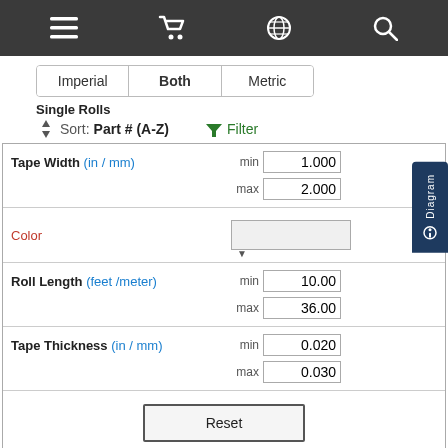Navigation bar with menu, cart, globe, and search icons
Imperial | Both | Metric
Single Rolls
Sort: Part # (A-Z)   Filter
| Field | Min | Max |
| --- | --- | --- |
| Tape Width (in / mm) | 1.000 | 2.000 |
| Color |  |  |
| Roll Length (feet /meter) | 10.00 | 36.00 |
| Tape Thickness (in / mm) | 0.020 | 0.030 |
Reset
| Part # | TPE-X10B |
| --- | --- |
| Tape Width (in / mm) | 1.000 / 25.4 |
|  | Color  Black |